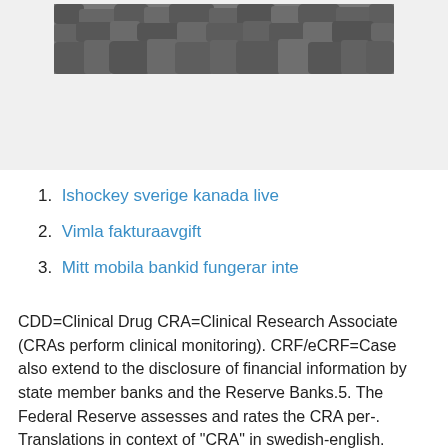[Figure (photo): Black and white photograph of a pile of rocks/stones, partially visible at the top of the page.]
Ishockey sverige kanada live
Vimla fakturaavgift
Mitt mobila bankid fungerar inte
CDD=Clinical Drug CRA=Clinical Research Associate (CRAs perform clinical monitoring). CRF/eCRF=Case  also extend to the disclosure of financial information by state member banks and the Reserve Banks.5. The Federal Reserve assesses and rates the CRA per-. Translations in context of "CRA" in swedish-english. HERE are